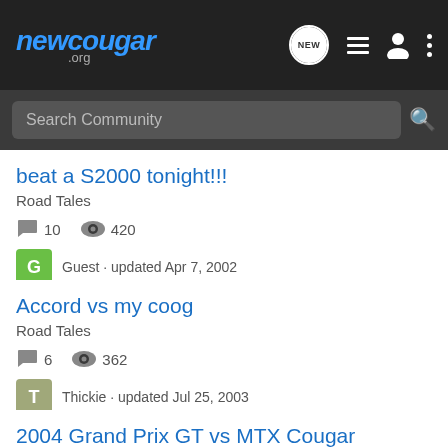newcougar.org
Search Community
beat a S2000 tonight!!!
Road Tales
10 replies · 420 views
Guest · updated Apr 7, 2002
Accord vs my coog
Road Tales
6 replies · 362 views
Thickie · updated Jul 25, 2003
2004 Grand Prix GT vs MTX Cougar